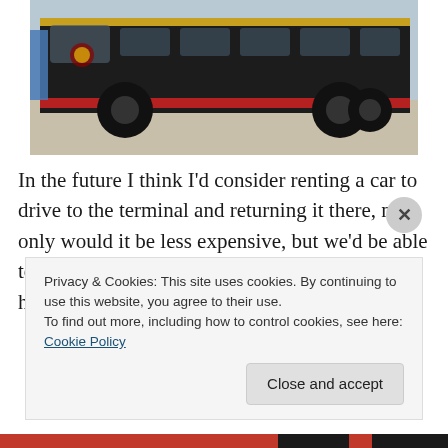[Figure (photo): A dark-colored charter bus parked on pavement, viewed from the side/front angle. The bus has gold trim and a red stripe. A person in a blue shirt is partially visible on the left side.]
In the future I think I'd consider renting a car to drive to the terminal and returning it there, not only would it be less expensive, but we'd be able to control what time we arrived and we would have been able to board a couple hours earlier.
Privacy & Cookies: This site uses cookies. By continuing to use this website, you agree to their use.
To find out more, including how to control cookies, see here: Cookie Policy
Close and accept